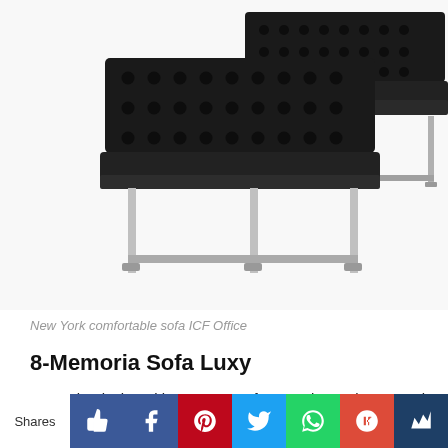[Figure (photo): Two black tufted leather sofas with chrome metal legs, arranged in an overlapping composition on white background. Modern minimalist office/lounge style furniture.]
New York comfortable sofa ICF Office
8-Memoria Sofa Luxy
Memoria, designed by Luxy R&D for Luxy is an elegant and harmonized collection composed by an armchair and
Shares [like] [facebook] [pinterest] [twitter] [whatsapp] [google+] [crown]